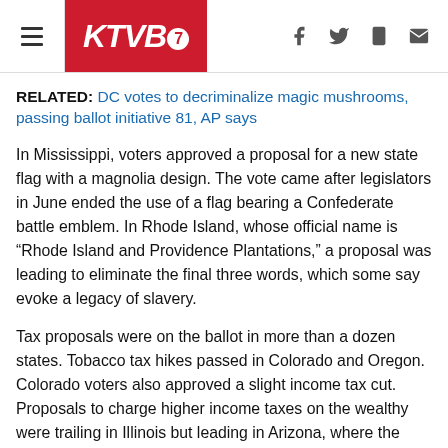KTVB7
RELATED: DC votes to decriminalize magic mushrooms, passing ballot initiative 81, AP says
In Mississippi, voters approved a proposal for a new state flag with a magnolia design. The vote came after legislators in June ended the use of a flag bearing a Confederate battle emblem. In Rhode Island, whose official name is “Rhode Island and Providence Plantations,” a proposal was leading to eliminate the final three words, which some say evoke a legacy of slavery.
Tax proposals were on the ballot in more than a dozen states. Tobacco tax hikes passed in Colorado and Oregon. Colorado voters also approved a slight income tax cut. Proposals to charge higher income taxes on the wealthy were trailing in Illinois but leading in Arizona, where the new revenue would fund pay raises for teachers and other school personnel. A California property tax increase on